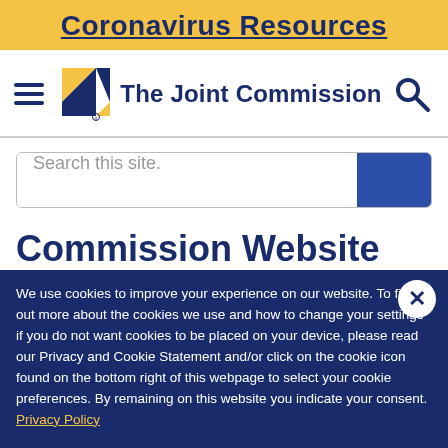Coronavirus Resources
[Figure (logo): The Joint Commission logo with geometric diamond shapes in gold and navy, and hamburger menu icon and search icon]
Search this site.
Commission Website
We use cookies to improve your experience on our website. To find out more about the cookies we use and how to change your settings if you do not want cookies to be placed on your device, please read our Privacy and Cookie Statement and/or click on the cookie icon found on the bottom right of this webpage to select your cookie preferences. By remaining on this website you indicate your consent. Privacy Policy